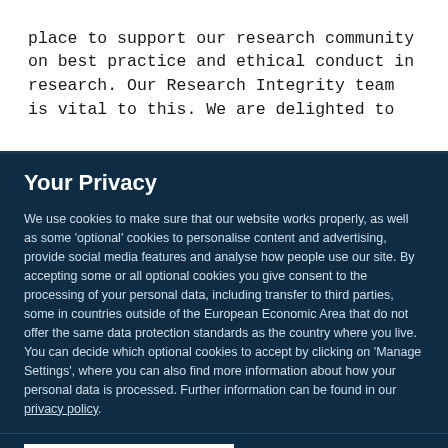place to support our research community on best practice and ethical conduct in research. Our Research Integrity team is vital to this. We are delighted to
Your Privacy
We use cookies to make sure that our website works properly, as well as some 'optional' cookies to personalise content and advertising, provide social media features and analyse how people use our site. By accepting some or all optional cookies you give consent to the processing of your personal data, including transfer to third parties, some in countries outside of the European Economic Area that do not offer the same data protection standards as the country where you live. You can decide which optional cookies to accept by clicking on 'Manage Settings', where you can also find more information about how your personal data is processed. Further information can be found in our privacy policy.
Accept all cookies
Manage preferences